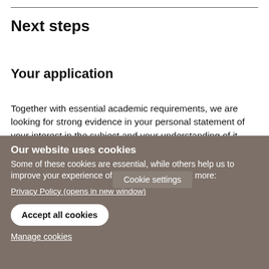Next steps
Your application
Together with essential academic requirements, we are looking for strong evidence in your personal statement of your interest in the subject and your understanding of it. These requirements may be evidenced by examples of project work, relevant work experience or, perhaps, through your knowled… events involving
Cookie settings
Our website uses cookies
Some of these cookies are essential, while others help us to improve your experience of our website. Find out more:
Privacy Policy (opens in new window)
Accept all cookies
Manage cookies